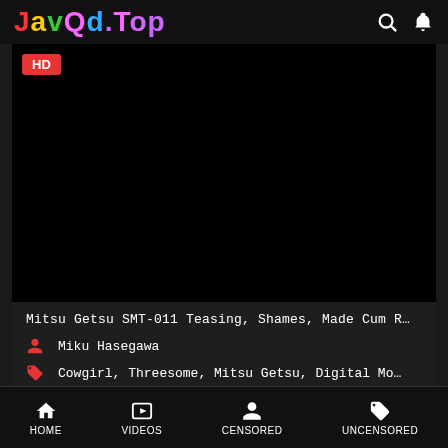JavQd.Top
[Figure (screenshot): Black video player with HD badge in top-left corner]
Mitsu Getsu SMT-011 Teasing, Shames, Made Cum R…
Miku Hasegawa
Cowgirl, Threesome, Mitsu Getsu, Digital Mo…
HOME   VIDEOS   CENSORED   UNCENSORED